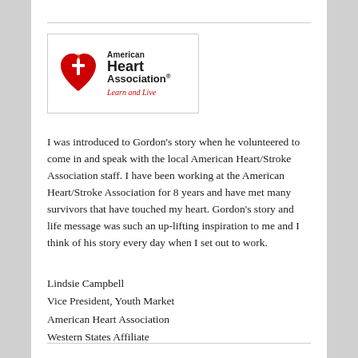[Figure (logo): American Heart Association logo with red heart and torch icon, text 'American Heart Association.' and tagline 'Learn and Live' in red italic]
I was introduced to Gordon’s story when he volunteered to come in and speak with the local American Heart/Stroke Association staff. I have been working at the American Heart/Stroke Association for 8 years and have met many survivors that have touched my heart. Gordon’s story and life message was such an up-lifting inspiration to me and I think of his story every day when I set out to work.
Lindsie Campbell
Vice President, Youth Market
American Heart Association
Western States Affiliate